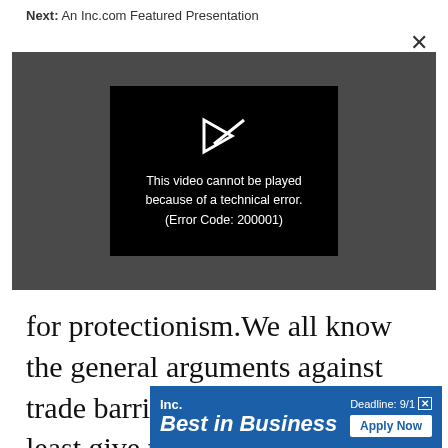Next: An Inc.com Featured Presentation
[Figure (screenshot): Video player showing error message: 'This video cannot be played because of a technical error. (Error Code: 200001)' with a broken video icon on dark background]
for protectionism. We all know the general arguments against trade barriers. But why not at least give the industry some temp
[Figure (other): Inc. Best in Business advertisement banner with 'Deadline: 9/1' and 'Apply Now' button]